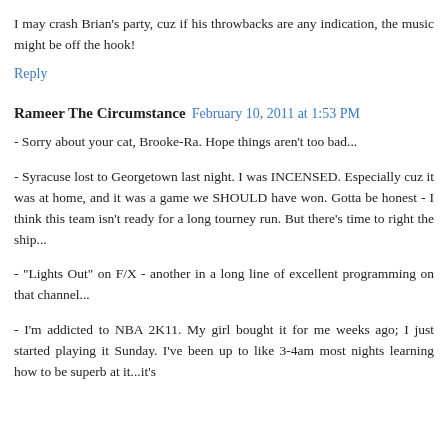I may crash Brian's party, cuz if his throwbacks are any indication, the music might be off the hook!
Reply
Rameer The Circumstance   February 10, 2011 at 1:53 PM
- Sorry about your cat, Brooke-Ra. Hope things aren't too bad...
- Syracuse lost to Georgetown last night. I was INCENSED. Especially cuz it was at home, and it was a game we SHOULD have won. Gotta be honest - I think this team isn't ready for a long tourney run. But there's time to right the ship...
- "Lights Out" on F/X - another in a long line of excellent programming on that channel...
- I'm addicted to NBA 2K11. My girl bought it for me weeks ago; I just started playing it Sunday. I've been up to like 3-4am most nights learning how to be superb at it...it's